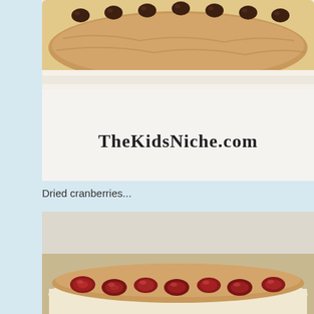[Figure (photo): Close-up photo of a food bar (cracker or cookie) topped with peanut butter and chocolate chips, with watermark text 'TheKidsNiche.com' overlaid on the white background below the food item.]
Dried cranberries...
[Figure (photo): Close-up photo of a food bar (cracker or cookie) topped with peanut butter and dried cranberries, partially cut off at the bottom of the image.]